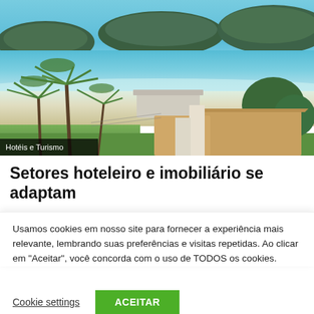[Figure (photo): Aerial photo of a beachfront hotel property with palm trees, a sandy beach, turquoise water, and green islands in the background. Tile-roofed buildings visible in the foreground. Category label 'Hotéis e Turismo' overlaid at bottom left.]
Setores hoteleiro e imobiliário se adaptam
Usamos cookies em nosso site para fornecer a experiência mais relevante, lembrando suas preferências e visitas repetidas. Ao clicar em "Aceitar", você concorda com o uso de TODOS os cookies.
Cookie settings
ACEITAR